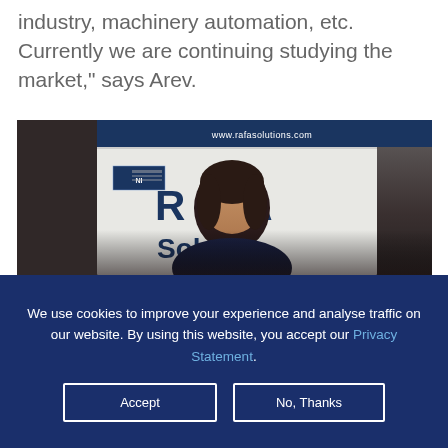industry, machinery automation, etc. Currently we are continuing studying the market," says Arev.
[Figure (photo): Photo of a woman standing in front of a RAFA Solutions banner/backdrop. The banner shows the company logo 'RAFA Solutions' and URL 'www.rafasolutions.com'. A National Instruments badge is also visible on the banner.]
We use cookies to improve your experience and analyse traffic on our website. By using this website, you accept our Privacy Statement.
Accept
No, Thanks